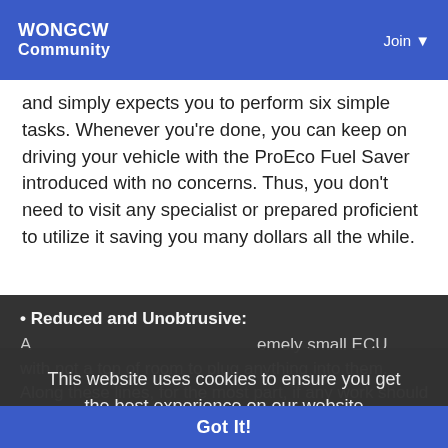WONGCW Community | Join
and simply expects you to perform six simple tasks. Whenever you're done, you can keep on driving your vehicle with the ProEco Fuel Saver introduced with no concerns. Thus, you don't need to visit any specialist or prepared proficient to utilize it saving you many dollars all the while.
Reduced and Unobtrusive: A ... extremely small ECU... with not a ton of room to plug anything into them. Along these lines, for the most part, if any work should be finished with the ECU, the prepared proficient takes it out and after...
This website uses cookies to ensure you get the best experience on our website
Learn More
Got It!